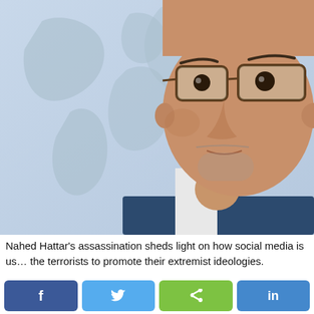[Figure (photo): Close-up photo of a man with glasses and short grey stubble, wearing a suit, in front of a world map background with blue-grey tones]
Nahed Hattar's assassination sheds light on how social media is us… the terrorists to promote their extremist ideologies.
[Figure (infographic): Row of social media share buttons: Facebook (blue), Twitter (light blue), share icon (green), and another blue button]